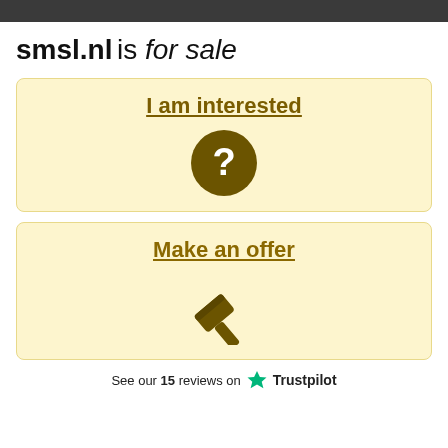smsl.nl is for sale
I am interested
[Figure (illustration): Dark olive/brown circle with white question mark inside]
Make an offer
[Figure (illustration): Dark olive/brown gavel/hammer icon]
See our 15 reviews on ★ Trustpilot